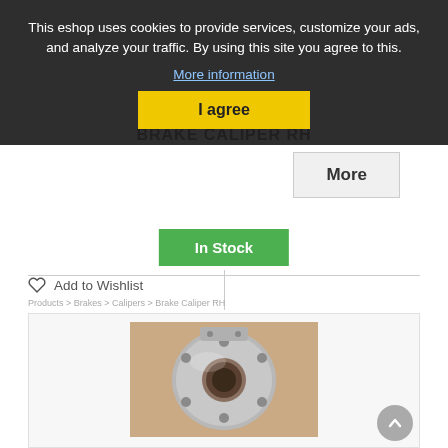This eshop uses cookies to provide services, customize your ads, and analyze your traffic. By using this site you agree to this.
More information
I agree
BRAKE CALIPER RH
More
In Stock
Add to Wishlist
[Figure (photo): Photo of a metal brake caliper part, circular with bolt holes, silver/grey metallic finish on a tan background]